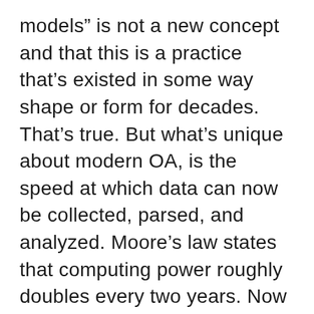models” is not a new concept and that this is a practice that’s existed in some way shape or form for decades. That’s true. But what’s unique about modern OA, is the speed at which data can now be collected, parsed, and analyzed. Moore’s law states that computing power roughly doubles every two years. Now consider the fact that these initial techniques and technical dives into OA took decades ago, and already received very positive results. With that in mind if we follow Moore’s Law we begin to realize that those same techniques that produced incredible results on older instruments, now have access to about 10x the computing power. This is game-changing in the